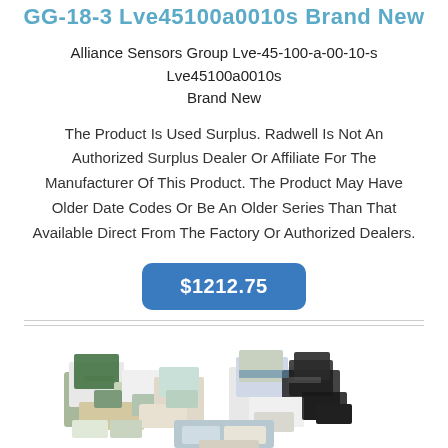GG-18-3 Lve45100a0010s Brand New
Alliance Sensors Group Lve-45-100-a-00-10-s Lve45100a0010s Brand New
The Product Is Used Surplus. Radwell Is Not An Authorized Surplus Dealer Or Affiliate For The Manufacturer Of This Product. The Product May Have Older Date Codes Or Be An Older Series Than That Available Direct From The Factory Or Authorized Dealers.
$1212.75
[Figure (photo): Stacked assortment of industrial product boxes and packages in various sizes, colors, and brands.]